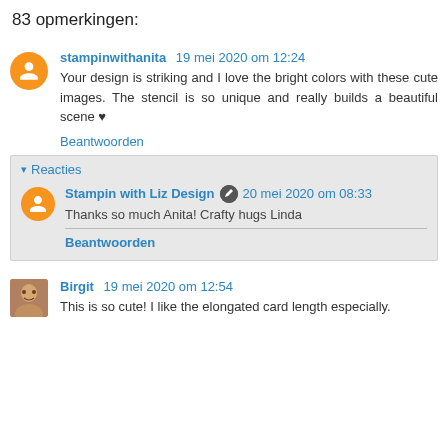83 opmerkingen:
stampinwithanita 19 mei 2020 om 12:24
Your design is striking and I love the bright colors with these cute images. The stencil is so unique and really builds a beautiful scene ♥
Beantwoorden
Reacties
Stampin with Liz Design 20 mei 2020 om 08:33
Thanks so much Anita! Crafty hugs Linda
Beantwoorden
Birgit 19 mei 2020 om 12:54
This is so cute! I like the elongated card length especially.